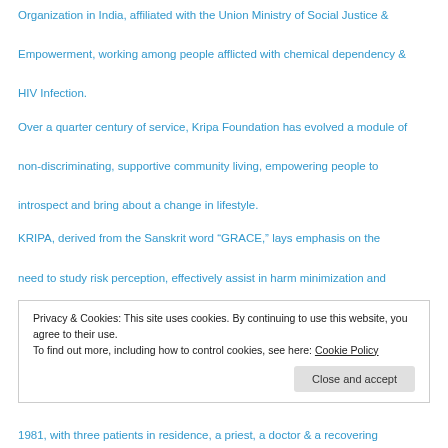Organization in India, affiliated with the Union Ministry of Social Justice & Empowerment, working among people afflicted with chemical dependency & HIV Infection.
Over a quarter century of service, Kripa Foundation has evolved a module of non-discriminating, supportive community living, empowering people to introspect and bring about a change in lifestyle.
KRIPA, derived from the Sanskrit word “GRACE,” lays emphasis on the need to study risk perception, effectively assist in harm minimization and provide training to the affected individuals enabling them to monitor life as an ongoing process of Spiritual Growth.
Privacy & Cookies: This site uses cookies. By continuing to use this website, you agree to their use.
To find out more, including how to control cookies, see here: Cookie Policy
1981, with three patients in residence, a priest, a doctor & a recovering